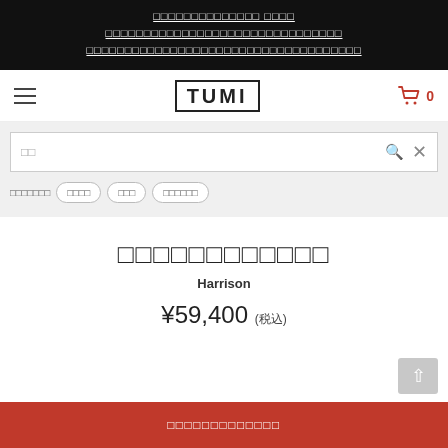□□□□□□□□□□□□□□ □□□□
□□□□□□□□□□□□□□□□□□□□□□□□□□□□□□□
□□□□□□□□□□□□□□□□□□□□□□□□□□□□□□□□□□□□
[Figure (logo): TUMI brand logo with hamburger menu and shopping cart icon showing 0 items]
□□ (search placeholder)
□□□□□□□  □□□□  □□□  □□□□□□ (filter tags)
□□□□□□□□□□□□
Harrison
¥59,400 (税込)
□□□□□□□□□□□□□ (bottom CTA button)